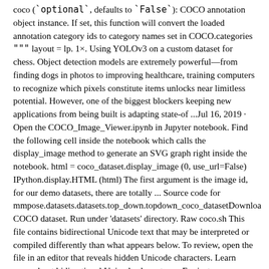coco (`optional`, defaults to `False`): COCO annotation object instance. If set, this function will convert the loaded annotation category ids to category names set in COCO.categories """ layout = lp. 1×. Using YOLOv3 on a custom dataset for chess. Object detection models are extremely powerful—from finding dogs in photos to improving healthcare, training computers to recognize which pixels constitute items unlocks near limitless potential. However, one of the biggest blockers keeping new applications from being built is adapting state-of ...Jul 16, 2019 · Open the COCO_Image_Viewer.ipynb in Jupyter notebook. Find the following cell inside the notebook which calls the display_image method to generate an SVG graph right inside the notebook. html = coco_dataset.display_image (0, use_url=False) IPython.display.HTML (html) The first argument is the image id, for our demo datasets, there are totally ... Source code for mmpose.datasets.datasets.top_down.topdown_coco_datasetDownloa COCO dataset. Run under 'datasets' directory. Raw coco.sh This file contains bidirectional Unicode text that may be interpreted or compiled differently than what appears below. To review, open the file in an editor that reveals hidden Unicode characters. Learn more about bidirectional Unicode characters ...For instance segmentation datasets, MMDetection only supports evaluating mask AP of dataset in COCO format for now. It is recommended to convert the data offline before training, thus you can still use CocoDataset and only need to modify the path of annotations and